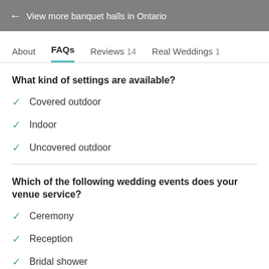← View more banquet halls in Ontario
About  FAQs  Reviews 14  Real Weddings 1
What kind of settings are available?
Covered outdoor
Indoor
Uncovered outdoor
Which of the following wedding events does your venue service?
Ceremony
Reception
Bridal shower
Engagement party